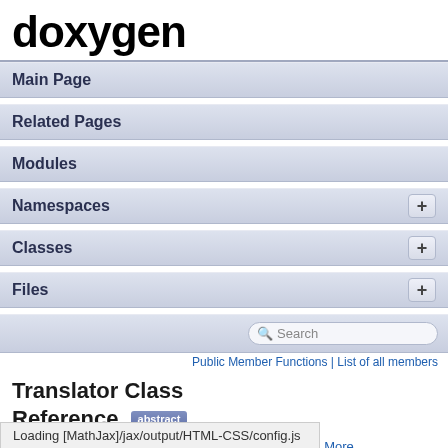doxygen
Main Page
Related Pages
Modules
Namespaces +
Classes +
Files +
Public Member Functions | List of all members
Translator Class Reference abstract
Abstract base class for all translatable text fragments. More...
Loading [MathJax]/jax/output/HTML-CSS/config.js